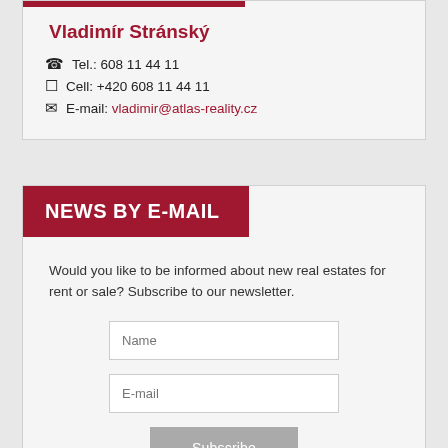Vladimír Stránský
☎ Tel.: 608 11 44 11
☐ Cell: +420 608 11 44 11
✉ E-mail: vladimir@atlas-reality.cz
NEWS BY E-MAIL
Would you like to be informed about new real estates for rent or sale? Subscribe to our newsletter.
Name
E-mail
Subscribe